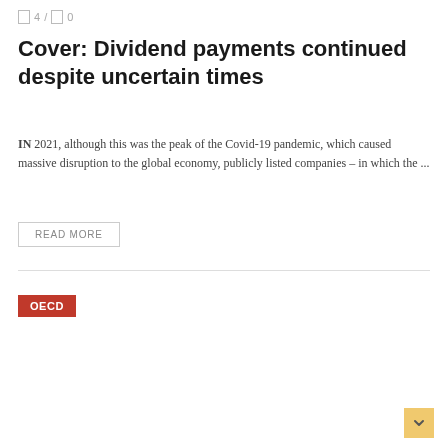4 / 0
Cover: Dividend payments continued despite uncertain times
IN 2021, although this was the peak of the Covid-19 pandemic, which caused massive disruption to the global economy, publicly listed companies – in which the ...
READ MORE
OECD